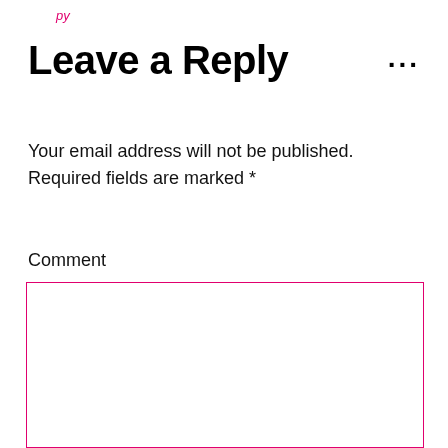py
Leave a Reply
Your email address will not be published. Required fields are marked *
Comment